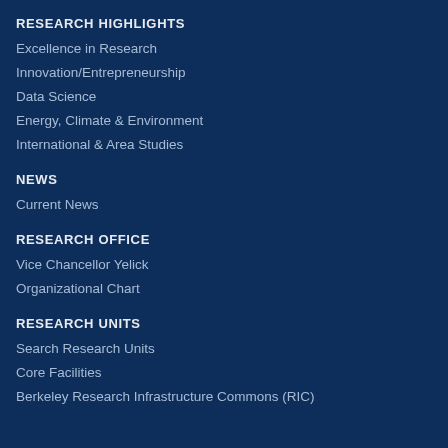RESEARCH HIGHLIGHTS
Excellence in Research
Innovation/Entrepreneurship
Data Science
Energy, Climate & Environment
International & Area Studies
NEWS
Current News
RESEARCH OFFICE
Vice Chancellor Yelick
Organizational Chart
RESEARCH UNITS
Search Research Units
Core Facilities
Berkeley Research Infrastructure Commons (RIC)